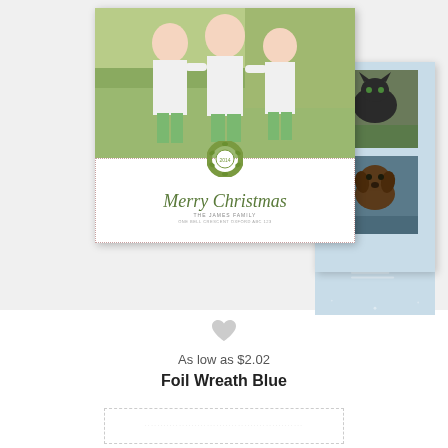[Figure (photo): Christmas card product preview showing a holiday card design called Foil Wreath Blue. The main front card shows three boys in white shirts standing together, with a dotted border section below containing a decorative green foil wreath and 'Merry Christmas' text in green italic script. A side/back card in light blue shows two pet photos (a cat and a dog). Below is a heart/favorite icon, pricing text, and product name.]
As low as $2.02
Foil Wreath Blue
[Figure (photo): Small thumbnail preview of card bottom/back at the bottom of the page, showing a dotted border design]